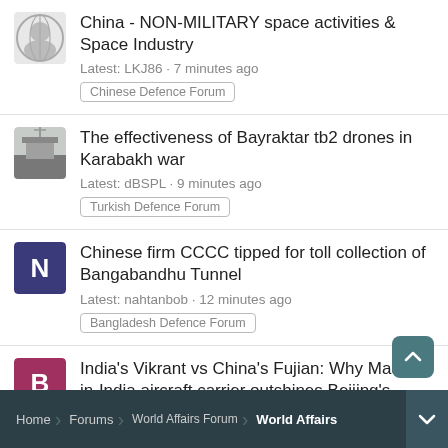China - NON-MILITARY space activities & Space Industry
Latest: LKJ86 · 7 minutes ago
Chinese Defence Forum
The effectiveness of Bayraktar tb2 drones in Karabakh war
Latest: dBSPL · 9 minutes ago
Turkish Defence Forum
Chinese firm CCCC tipped for toll collection of Bangabandhu Tunnel
Latest: nahtanbob · 12 minutes ago
Bangladesh Defence Forum
India's Vikrant vs China's Fujian: Why Made-in-India aircraft carrier outshines Beijing's warship
Latest: Beast · 23 minutes ago
Indian Defence Forum
Home · Forums · World Affairs Forum · World Affairs